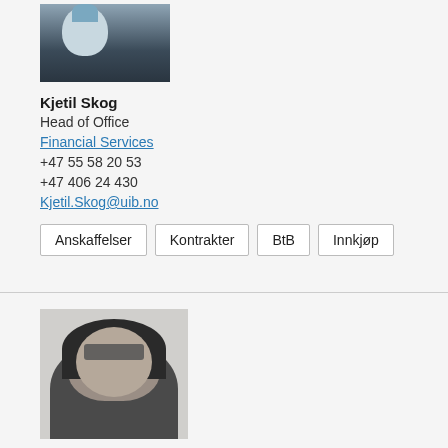[Figure (photo): Partial photo of Kjetil Skog, showing lower portion of face/torso, man in dark sweater and light blue collar]
Kjetil Skog
Head of Office
Financial Services
+47 55 58 20 53
+47 406 24 430
Kjetil.Skog@uib.no
Anskaffelser
Kontrakter
BtB
Innkjøp
[Figure (photo): Black and white photo of a woman with long dark wavy hair and glasses, smiling, wearing dark clothing]